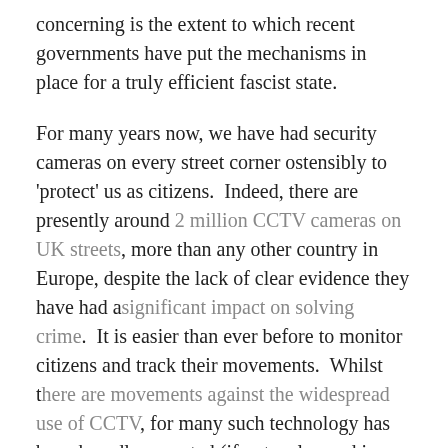concerning is the extent to which recent governments have put the mechanisms in place for a truly efficient fascist state.
For many years now, we have had security cameras on every street corner ostensibly to 'protect' us as citizens.  Indeed, there are presently around 2 million CCTV cameras on UK streets, more than any other country in Europe, despite the lack of clear evidence they have had a significant impact on solving crime.  It is easier than ever before to monitor citizens and track their movements.  Whilst there are movements against the widespread use of CCTV, for many such technology has been broadly accepted (if not welcomed in some cases) as part of the mechanisms required to tackle crime.  The extent of public surveillance and the growth of the “database state”